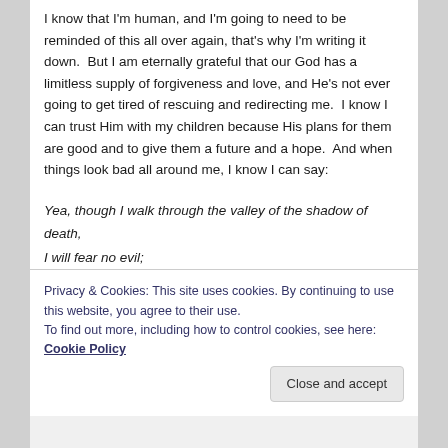I know that I'm human, and I'm going to need to be reminded of this all over again, that's why I'm writing it down.  But I am eternally grateful that our God has a limitless supply of forgiveness and love, and He's not ever going to get tired of rescuing and redirecting me.  I know I can trust Him with my children because His plans for them are good and to give them a future and a hope.  And when things look bad all around me, I know I can say:
Yea, though I walk through the valley of the shadow of death,
I will fear no evil;
For You are with me;
Your rod and Your staff, they comfort me.
Privacy & Cookies: This site uses cookies. By continuing to use this website, you agree to their use.
To find out more, including how to control cookies, see here: Cookie Policy